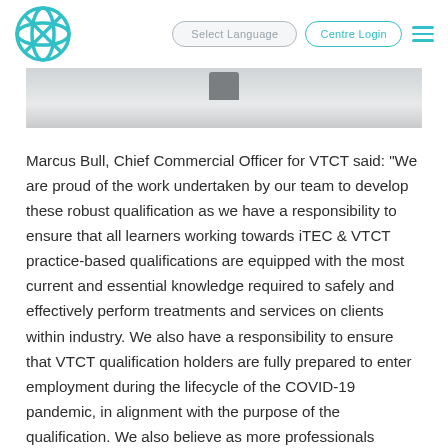Select Language | Centre Login
[Figure (photo): Partial hero image showing a white/grey surface, possibly a medical or beauty treatment device]
Marcus Bull, Chief Commercial Officer for VTCT said: “We are proud of the work undertaken by our team to develop these robust qualification as we have a responsibility to ensure that all learners working towards iTEC & VTCT practice-based qualifications are equipped with the most current and essential knowledge required to safely and effectively perform treatments and services on clients within industry. We also have a responsibility to ensure that VTCT qualification holders are fully prepared to enter employment during the lifecycle of the COVID-19 pandemic, in alignment with the purpose of the qualification. We also believe as more professionals complete these qualifications, it will increase safety within industries and slow the spread of the